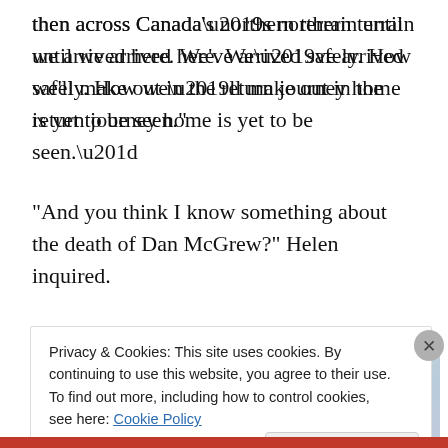then across Canada’s northern terrain until we arrived here. We’ve arrived safely. How we’ll make out in the return journey home is yet to be seen.”
“And you think I know something about the death of Dan McGrew?” Helen inquired.
[Figure (screenshot): WordPress CMS for Very Important Content - WP VIP advertisement with Learn more button, overlaid on colorful background with business cards]
Privacy & Cookies: This site uses cookies. By continuing to use this website, you agree to their use.
To find out more, including how to control cookies, see here: Cookie Policy
Close and accept